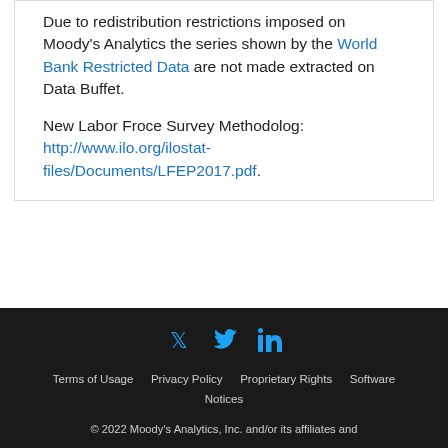Due to redistribution restrictions imposed on Moody's Analytics the series shown by the World Bank Restricted Data are not made extracted on Data Buffet.
New Labor Froce Survey Methodolog: http://www.ilo.org/ilostat-files/Documents/LFEP2017.pdf.
Terms of Usage  Privacy Policy  Proprietary Rights  Software Notices
© 2022 Moody's Analytics, Inc. and/or its affiliates and